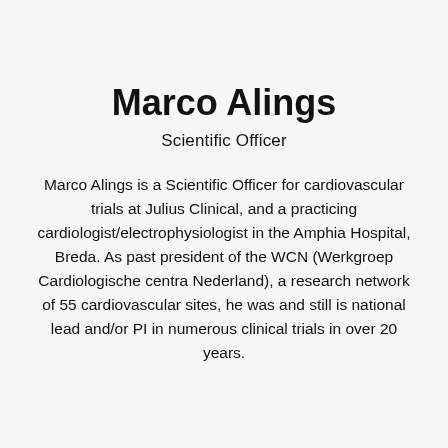Marco Alings
Scientific Officer
Marco Alings is a Scientific Officer for cardiovascular trials at Julius Clinical, and a practicing cardiologist/electrophysiologist in the Amphia Hospital, Breda. As past president of the WCN (Werkgroep Cardiologische centra Nederland), a research network of 55 cardiovascular sites, he was and still is national lead and/or PI in numerous clinical trials in over 20 years.